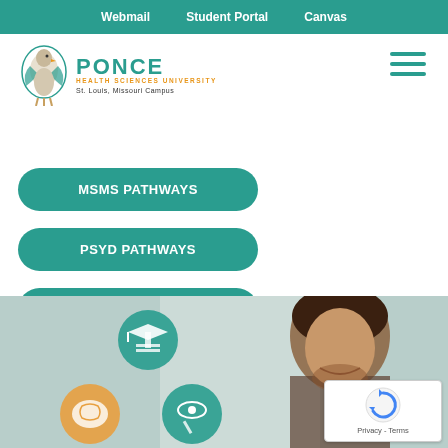Webmail   Student Portal   Canvas
[Figure (logo): Ponce Health Sciences University logo with eagle mascot and text: PONCE HEALTH SCIENCES UNIVERSITY, St. Louis, Missouri Campus]
MSMS PATHWAYS
PSYD PATHWAYS
MD PATHWAYS
[Figure (photo): Photo of a smiling young man with decorative circular icons showing graduation cap, brain, and eye/pencil symbols, representing health sciences education pathways]